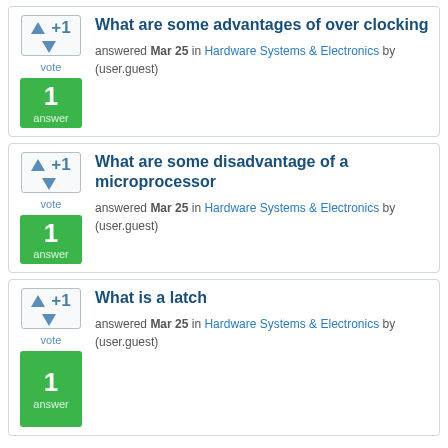What are some advantages of over clocking — answered Mar 25 in Hardware Systems & Electronics by (user.guest) — 1 answer, +1 vote
What are some disadvantage of a microprocessor — answered Mar 25 in Hardware Systems & Electronics by (user.guest) — 1 answer, +1 vote
What is a latch — answered Mar 25 in Hardware Systems & Electronics by (user.guest) — 1 answer, +1 vote